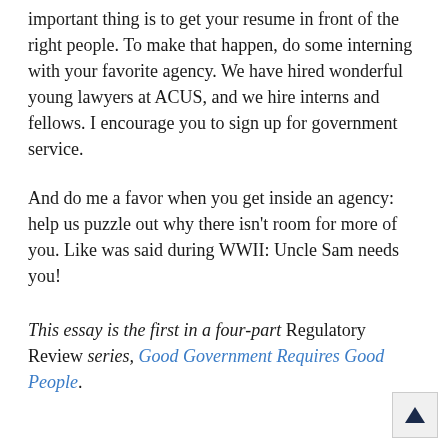important thing is to get your resume in front of the right people. To make that happen, do some interning with your favorite agency. We have hired wonderful young lawyers at ACUS, and we hire interns and fellows. I encourage you to sign up for government service.
And do me a favor when you get inside an agency: help us puzzle out why there isn't room for more of you. Like was said during WWII: Uncle Sam needs you!
This essay is the first in a four-part Regulatory Review series, Good Government Requires Good People.